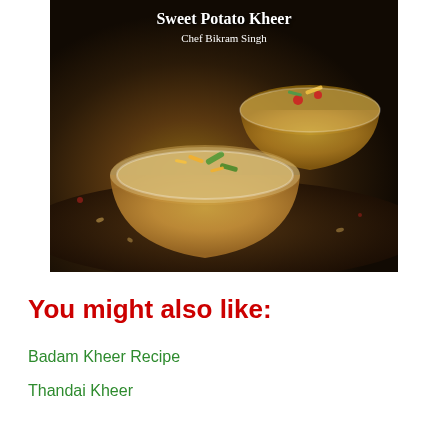[Figure (photo): Photo of Sweet Potato Kheer in glass bowls garnished with nuts and rose petals, dark background, with title text 'Sweet Potato Kheer' and subtitle 'Chef Bikram Singh']
You might also like:
Badam Kheer Recipe
Thandai Kheer